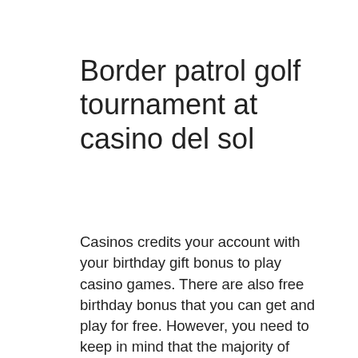Border patrol golf tournament at casino del sol
Casinos credits your account with your birthday gift bonus to play casino games. There are also free birthday bonus that you can get and play for free. However, you need to keep in mind that the majority of casino websites have terms and conditions that are attached to every bonus. So, you may have to play a number of times before you can withdraw your winnings from your birthday bonus reward, border patrol golf tournament at casino del sol.
Harrahs Casino San Diego Ca How to play online slot machines, border patrol